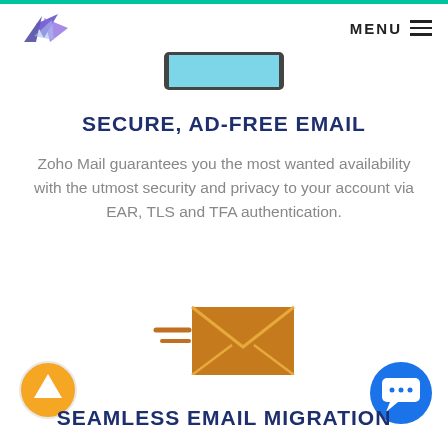MENU
[Figure (illustration): Partial tablet device visible at top center of page]
SECURE, AD-FREE EMAIL
Zoho Mail guarantees you the most wanted availability with the utmost security and privacy to your account via EAR, TLS and TFA authentication.
[Figure (illustration): Orange envelope icon with speed lines indicating fast email sending]
[Figure (illustration): Orange circular button with white up arrow]
[Figure (illustration): Blue circular chat button with speech bubble icon]
SEAMLESS EMAIL MIGRATION